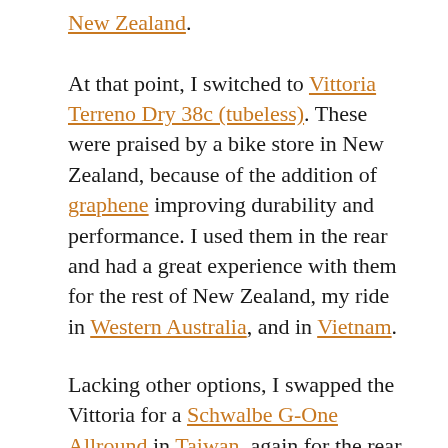New Zealand. At that point, I switched to Vittoria Terreno Dry 38c (tubeless). These were praised by a bike store in New Zealand, because of the addition of graphene improving durability and performance. I used them in the rear and had a great experience with them for the rest of New Zealand, my ride in Western Australia, and in Vietnam.
Lacking other options, I swapped the Vittoria for a Schwalbe G-One Allround in Taiwan, again for the rear tire. The small knobs provided decent grip on various surfaces, however after putting them to the test in Japan, Norway, Switzerland,